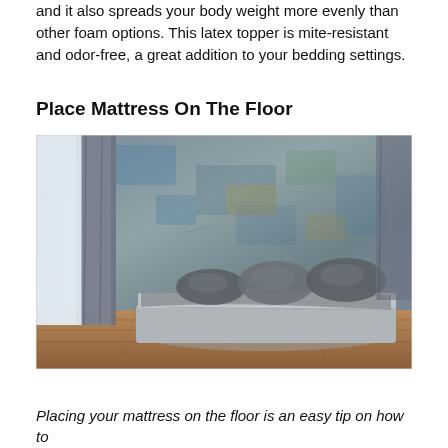and it also spreads your body weight more evenly than other foam options. This latex topper is mite-resistant and odor-free, a great addition to your bedding settings.
Place Mattress On The Floor
[Figure (photo): A mattress placed directly on a hardwood floor in a room with a distressed concrete-textured wall and grey curtains. Grey pillows and bedding are arranged on the mattress.]
Placing your mattress on the floor is an easy tip on how to